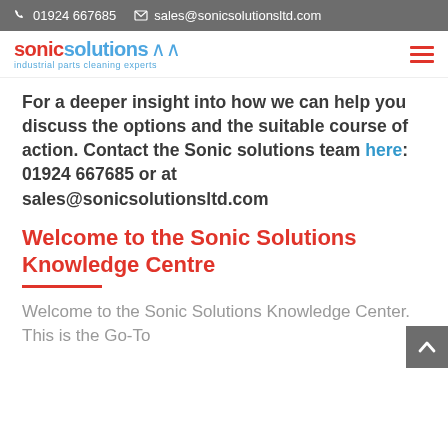01924 667685   sales@sonicsolutionsltd.com
[Figure (logo): Sonic Solutions logo with tagline 'industrial parts cleaning experts']
For a deeper insight into how we can help you discuss the options and the suitable course of action. Contact the Sonic solutions team here: 01924 667685 or at sales@sonicsolutionsltd.com
Welcome to the Sonic Solutions Knowledge Centre
Welcome to the Sonic Solutions Knowledge Center. This is the Go-To